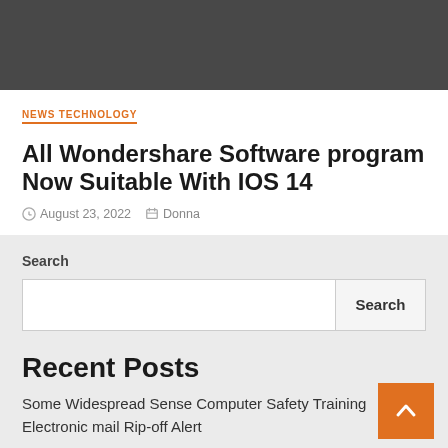[Figure (other): Dark gray header/banner bar at top of page]
NEWS TECHNOLOGY
All Wondershare Software program Now Suitable With IOS 14
August 23, 2022   Donna
Search
Recent Posts
Some Widespread Sense Computer Safety Training
Electronic mail Rip-off Alert